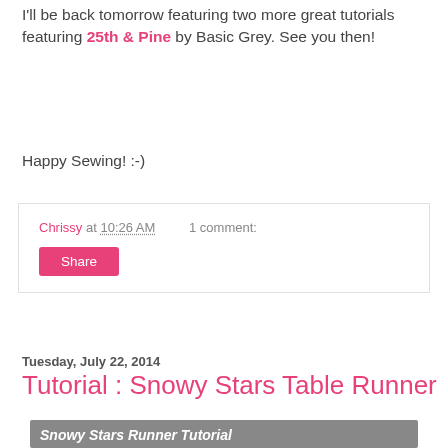I'll be back tomorrow featuring two more great tutorials featuring 25th & Pine by Basic Grey. See you then!
Happy Sewing! :-)
Chrissy at 10:26 AM    1 comment:
Share
Tuesday, July 22, 2014
Tutorial : Snowy Stars Table Runner
[Figure (photo): Photo of a quilt table runner with snowy star pattern, teal/aqua stars on white fabric, with text overlay 'Snowy Stars Runner Tutorial']